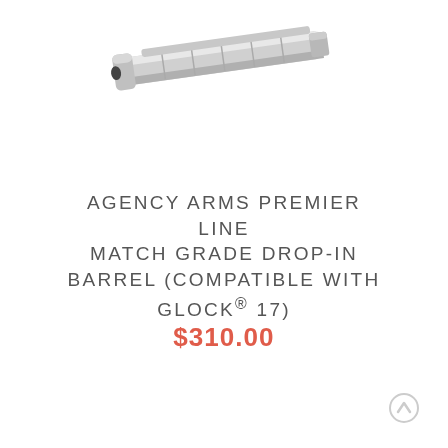[Figure (photo): Close-up photo of a silver/stainless steel match grade drop-in barrel for Glock 17, showing the muzzle end and fluted exterior, on a white background.]
AGENCY ARMS PREMIER LINE MATCH GRADE DROP-IN BARREL (COMPATIBLE WITH GLOCK® 17)
$310.00